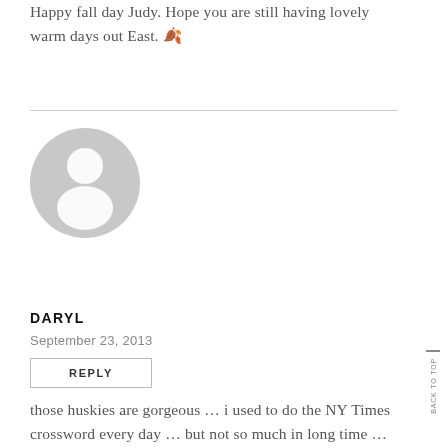Happy fall day Judy. Hope you are still having lovely warm days out East. 🍂
[Figure (illustration): Default user avatar: grey circle with a white silhouette of a person (head and shoulders)]
DARYL
September 23, 2013
REPLY
those huskies are gorgeous … i used to do the NY Times crossword every day … but not so much in long time … now Toonman does it … every day in ink!